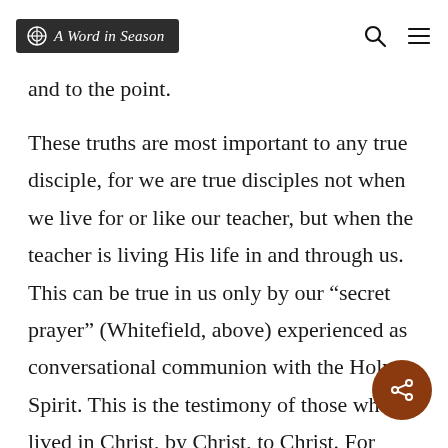A Word in Season
and to the point.
These truths are most important to any true disciple, for we are true disciples not when we live for or like our teacher, but when the teacher is living His life in and through us. This can be true in us only by our “secret prayer” (Whitefield, above) experienced as conversational communion with the Holy Spirit. This is the testimony of those who lived in Christ, by Christ, to Christ. For those who are busy trying to somehow live for Christ, this communion will likely elude them